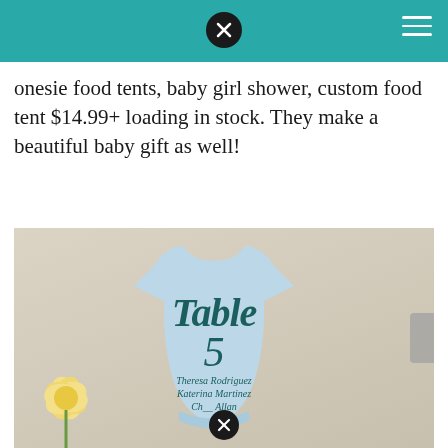onesie food tents, baby girl shower, custom food tent $14.99+ loading in stock. They make a beautiful baby gift as well!
[Figure (photo): Light blue onesie-shaped table card reading 'Table 5' in teal script with guest names Theresa Rodriguez, Katerina Martinez, and a third name, alongside a yellow flower, on a beige background.]